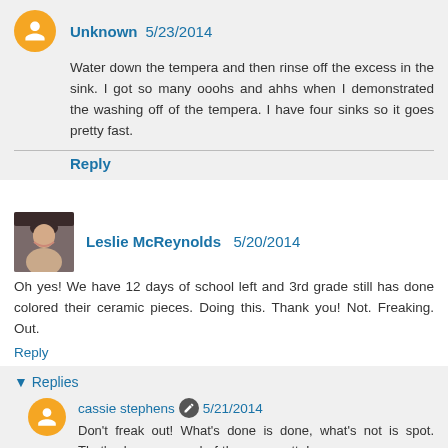Unknown 5/23/2014
Water down the tempera and then rinse off the excess in the sink. I got so many ooohs and ahhs when I demonstrated the washing off of the tempera. I have four sinks so it goes pretty fast.
Reply
Leslie McReynolds 5/20/2014
Oh yes! We have 12 days of school left and 3rd grade still has done colored their ceramic pieces. Doing this. Thank you! Not. Freaking. Out.
Reply
▾ Replies
cassie stephens 5/21/2014
Don't freak out! What's done is done, what's not is spot. That's always my end-of-the-year motto!